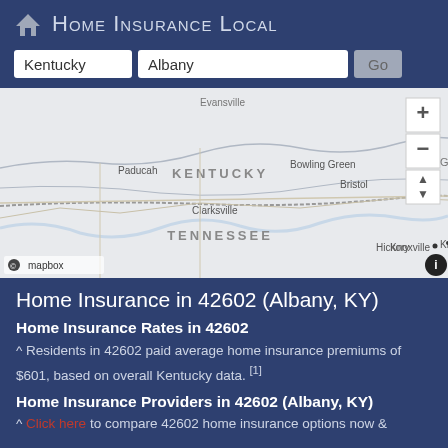Home Insurance Local
[Figure (map): Map showing Kentucky and Tennessee region with cities: Paducah, Bowling Green, Clarksville, Bristol, Knoxville, Hickory. Map controls (zoom in/out, navigation) on right side. Mapbox copyright attribution at bottom left.]
Home Insurance in 42602 (Albany, KY)
Home Insurance Rates in 42602
^ Residents in 42602 paid average home insurance premiums of $601, based on overall Kentucky data. [1]
Home Insurance Providers in 42602 (Albany, KY)
^ Click here to compare 42602 home insurance options now &